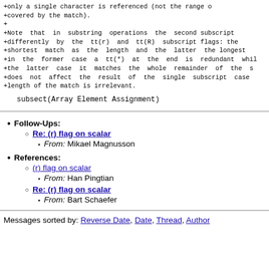+only a single character is referenced (not the range of
+covered by the match).
+
+Note that in substring operations the second subscript is
+differently by the tt(r) and tt(R) subscript flags: the
+shortest match as the length and the latter the longest
+in the former case a tt(*) at the end is redundant while
+the latter case it matches the whole remainder of the st
+does not affect the result of the single subscript case
+length of the match is irrelevant.
subsect(Array Element Assignment)
Follow-Ups: Re: (r) flag on scalar — From: Mikael Magnusson
References: (r) flag on scalar — From: Han Pingtian; Re: (r) flag on scalar — From: Bart Schaefer
Messages sorted by: Reverse Date, Date, Thread, Author